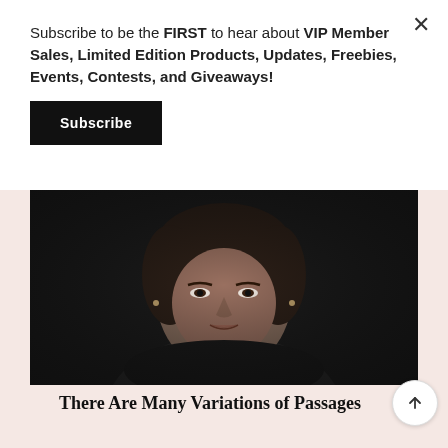Subscribe to be the FIRST to hear about VIP Member Sales, Limited Edition Products, Updates, Freebies, Events, Contests, and Giveaways!
Subscribe
[Figure (photo): Black and white portrait photo of a young woman looking directly at the camera against a dark background, wearing a dark top and a delicate necklace.]
There Are Many Variations of Passages